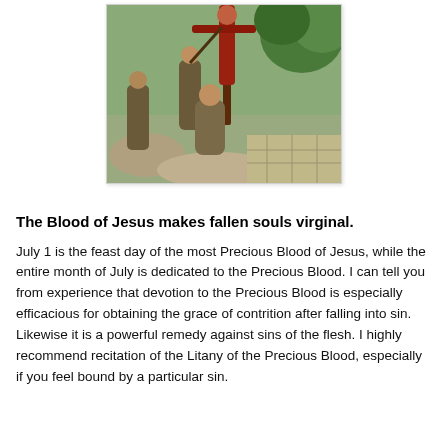[Figure (photo): A photo depicting a crucifixion scene, showing figures near a cross with a body upon it, set against a rocky and green outdoor background. The image has a white/light border and slight shadow.]
The Blood of Jesus makes fallen souls virginal.
July 1 is the feast day of the most Precious Blood of Jesus, while the entire month of July is dedicated to the Precious Blood. I can tell you from experience that devotion to the Precious Blood is especially efficacious for obtaining the grace of contrition after falling into sin. Likewise it is a powerful remedy against sins of the flesh. I highly recommend recitation of the Litany of the Precious Blood, especially if you feel bound by a particular sin.